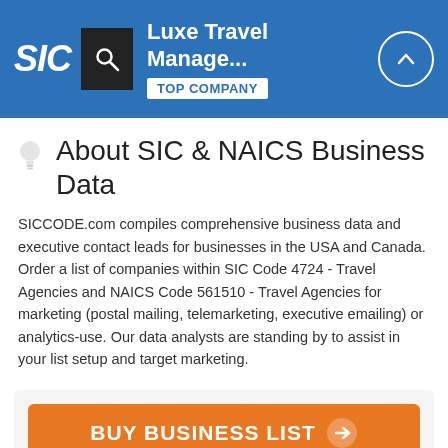Luxe Travel Manage... TOP COMPANY
About SIC & NAICS Business Data
SICCODE.com compiles comprehensive business data and executive contact leads for businesses in the USA and Canada. Order a list of companies within SIC Code 4724 - Travel Agencies and NAICS Code 561510 - Travel Agencies for marketing (postal mailing, telemarketing, executive emailing) or analytics-use. Our data analysts are standing by to assist in your list setup and target marketing.
[Figure (other): Orange button with text BUY BUSINESS LIST and right arrow]
Get Data From 15 Million Businesses